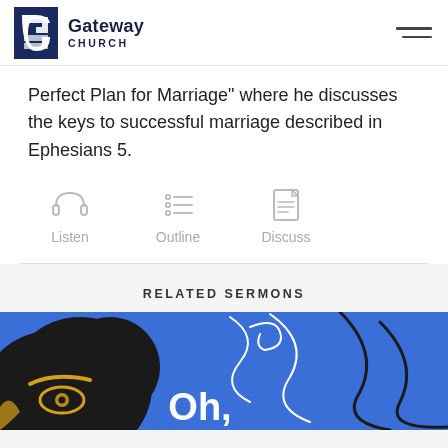Gateway Church
Perfect Plan for Marriage" where he discusses the keys to successful marriage described in Ephesians 5.
[Figure (infographic): Three icons with labels: headphones icon labelled Listen, bullet list icon labelled Outline, document icon labelled Discuss]
RELATED SERMONS
[Figure (illustration): Blue card with abstract illustration showing a stylized face with golden eye and black hair shapes with white curling lines, with partial text 'Oh,' in white]